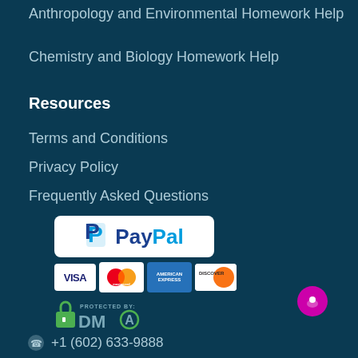Anthropology and Environmental Homework Help
Chemistry and Biology Homework Help
Resources
Terms and Conditions
Privacy Policy
Frequently Asked Questions
[Figure (logo): PayPal payment logo on white rounded rectangle]
[Figure (logo): Credit card logos: VISA, Mastercard, American Express, Discover]
[Figure (logo): DMCA Protected badge with green padlock icon]
[Figure (other): Purple chat bubble icon in bottom right]
+1 (602) 633-9888